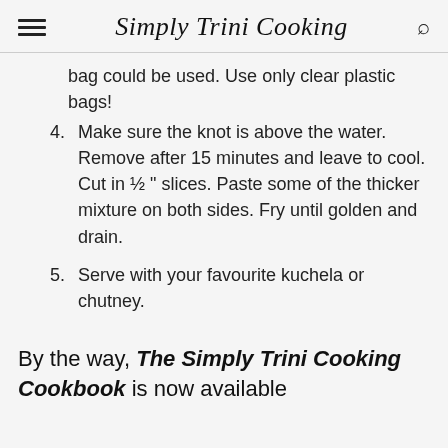Simply Trini Cooking
bag could be used. Use only clear plastic bags!
4. Make sure the knot is above the water. Remove after 15 minutes and leave to cool. Cut in ½ " slices. Paste some of the thicker mixture on both sides. Fry until golden and drain.
5. Serve with your favourite kuchela or chutney.
By the way, The Simply Trini Cooking Cookbook is now available